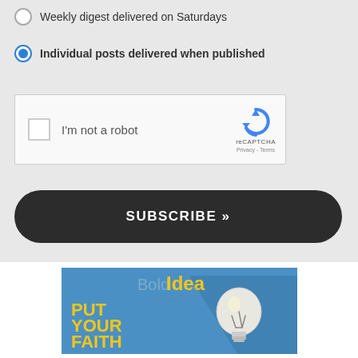Weekly digest delivered on Saturdays
Individual posts delivered when published
[Figure (screenshot): reCAPTCHA widget with checkbox labeled I'm not a robot and reCAPTCHA logo with Privacy and Terms links]
SUBSCRIBE »
[Figure (illustration): Bold Idea Podcast advertisement banner with yellow text PUT YOUR FAITH TO WORK, lightbulb illustration on blue background]